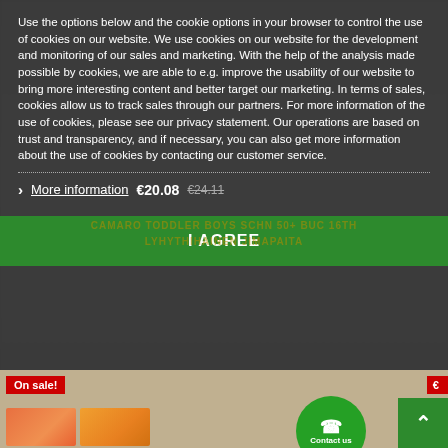Use the options below and the cookie options in your browser to control the use of cookies on our website. We use cookies on our website for the development and monitoring of our sales and marketing. With the help of the analysis made possible by cookies, we are able to e.g. improve the usability of our website to bring more interesting content and better target our marketing. In terms of sales, cookies allow us to track sales through our partners. For more information of the use of cookies, please see our privacy statement. Our operations are based on trust and transparency, and if necessary, you can also get more information about the use of cookies by contacting our customer service.
More information  €20.08  €24.11
I AGREE
On sale!
Contact us